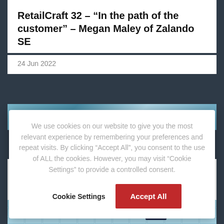RetailCraft 32 – "In the path of the customer" – Megan Maley of Zalando SE
24 Jun 2022
[Figure (photo): Abstract blue textured image strip]
We use cookies on our website to give you the most relevant experience by remembering your preferences and repeat visits. By clicking “Accept All”, you consent to the use of ALL the cookies. However, you may visit “Cookie Settings” to provide a controlled consent.
Cookie Settings
Accept All
Provenance.org and Kingfisher PLC
30 Mar 2022
[Figure (photo): Blue grid/table image with number 42 badge]